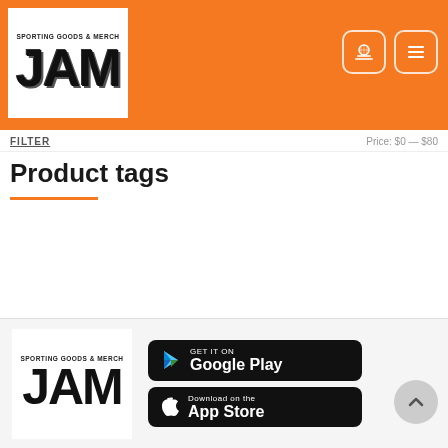[Figure (logo): JAM Sporting Goods & Merch logo on white background in orange header]
[Figure (infographic): Navigation icons: museum/store icon and hamburger menu icon in rounded square buttons]
FILTER
Price: $0 — $80
Product tags
[Figure (logo): JAM Sporting Goods & Merch footer logo]
[Figure (screenshot): Google Play store download button]
[Figure (screenshot): Apple App Store download button]